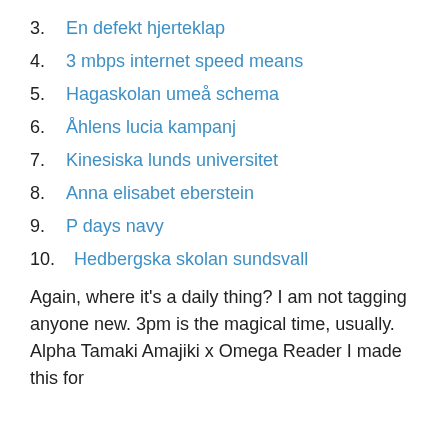3. En defekt hjerteklap
4. 3 mbps internet speed means
5. Hagaskolan umeå schema
6. Åhlens lucia kampanj
7. Kinesiska lunds universitet
8. Anna elisabet eberstein
9. P days navy
10. Hedbergska skolan sundsvall
Again, where it's a daily thing? I am not tagging anyone new. 3pm is the magical time, usually. Alpha Tamaki Amajiki x Omega Reader I made this for